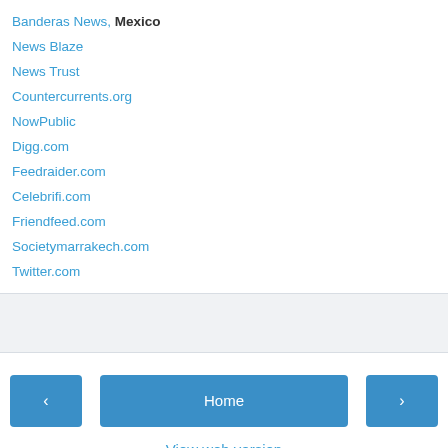Banderas News, Mexico
News Blaze
News Trust
Countercurrents.org
NowPublic
Digg.com
Feedraider.com
Celebrifi.com
Friendfeed.com
Societymarrakech.com
Twitter.com
[Figure (other): Gray advertisement/placeholder box]
< Home > View web version Powered by Blogger.